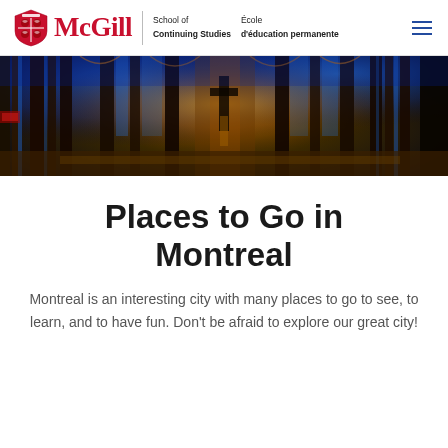McGill School of Continuing Studies | École d'éducation permanente
[Figure (photo): Interior of Notre-Dame Basilica in Montreal, showing ornate Gothic architecture with blue and gold illuminated columns and stained glass.]
Places to Go in Montreal
Montreal is an interesting city with many places to go to see, to learn, and to have fun. Don't be afraid to explore our great city!